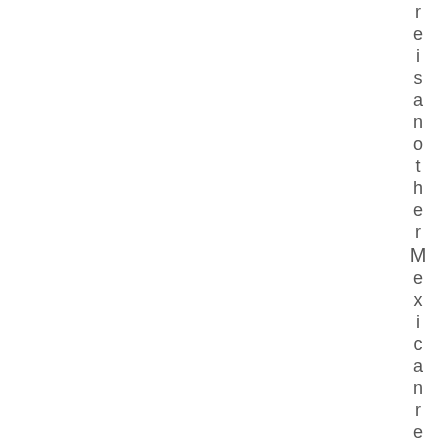reisanotherMexicanrestaurantwit